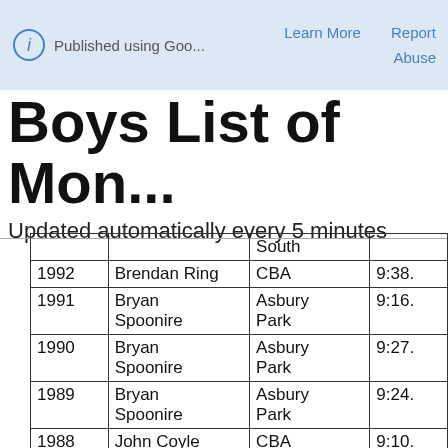Published using Goo... | Learn More | Abuse | Report
Boys List of Mon...
Updated automatically every 5 minutes
| Year | Name | School | Time |
| --- | --- | --- | --- |
|  |  | South |  |
| 1992 | Brendan Ring | CBA | 9:38. |
| 1991 | Bryan Spoonire | Asbury Park | 9:16. |
| 1990 | Bryan Spoonire | Asbury Park | 9:27. |
| 1989 | Bryan Spoonire | Asbury Park | 9:24. |
| 1988 | John Coyle | CBA | 9:10. |
| 1987 | John Coyle | CBA | 9:17. |
| 1986 | Greg Calhoun | Raritan | 9:34. |
| 1985 | Bill Kolb | CBA | 9:28. |
| 1984 | Don McCarthy | St. John Vianney | 9:24. |